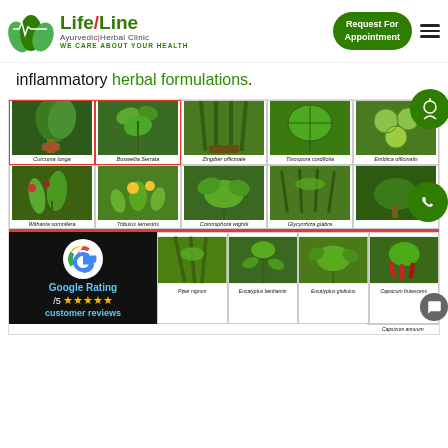Life Line Ayurvedic Herbal Clinic - WE CARE ABOUT YOUR HEALTH | Request For Appointment
inflammatory herbal formulations.
[Figure (photo): Grid of herbal plant images: Curcuma longa, Boswellia Serrata, Zingiber officinale, Tinospora cordifolia, Emblica officinalis, Withania somnifera, Tribulus terrestris, Commiphora wightii, Glycyrrhiza glabra, plus partial row with Piper nigrum, Eucalyptus benhamin, Eucalyptus globulus, Capsicum frutescens, Capsicum annuum]
Curcuma longa   Boswellia Serrata   Zingiber officinale   Tinospora cordifolia   Emblica officinalis   Withania somnifera   Tribulus terrestris   Commiphora wightii   Glycyrrhiza glabra   Piper nigrum   Eucalyptus benhamin   Eucalyptus globulus   Capsicum frutescens   Capsicum annuum